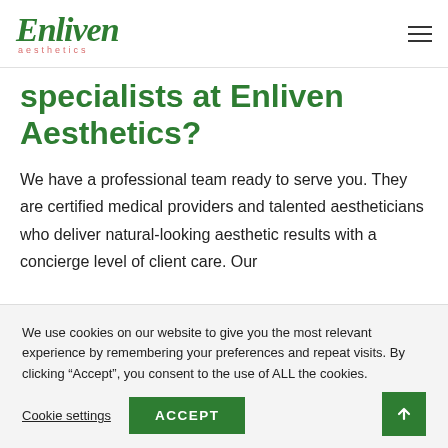[Figure (logo): Enliven Aesthetics logo in green script font with 'aesthetics' in pink below]
specialists at Enliven Aesthetics?
We have a professional team ready to serve you. They are certified medical providers and talented aestheticians who deliver natural-looking aesthetic results with a concierge level of client care. Our
We use cookies on our website to give you the most relevant experience by remembering your preferences and repeat visits. By clicking “Accept”, you consent to the use of ALL the cookies.
Cookie settings  ACCEPT